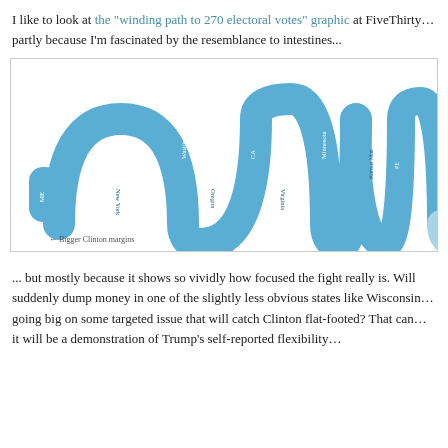I like to look at the "winding path to 270 electoral votes" graphic at FiveThirty... partly because I'm fascinated by the resemblance to intestines...
[Figure (infographic): A winding path infographic showing the electoral vote path to 270. Blue winding segments on the left represent states with bigger Clinton margins (Maryland, VT, ME, New York, Washington, Oregon, CA, Virginia, Michigan, Minnesota, Colorado, Pennsylvania, NH, WI, MI, NH). Light blue and pink segments in the middle represent swing states (Nevada, Colorado, Florida, North Carolina, Ohio). Red/orange winding segments on the right represent states with bigger Trump margins (Arizona, Georgia, Iowa, Alaska, Utah, Louisiana, Kansas, Texas, NE, WI, etc.). A dashed vertical line in the middle is labeled 'The candidate who gets more than 269 electoral votes — enough to cross this line — wins'. Left annotation: '← Bigger Clinton margins'. Right annotation: 'Bigger Tru...']
... but mostly because it shows so vividly how focused the fight really is. Will suddenly dump money in one of the slightly less obvious states like Wisconsin... going big on some targeted issue that will catch Clinton flat-footed? That can... it will be a demonstration of Trump's self-reported flexibility...